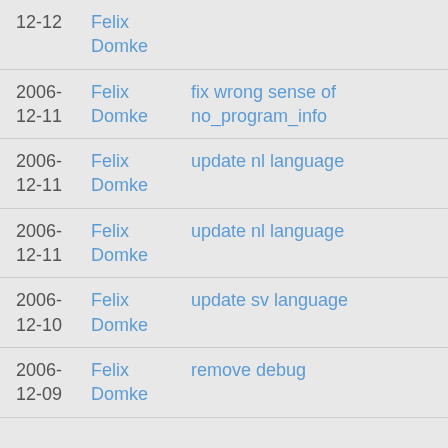12-12  Felix Domke
2006-12-11  Felix Domke  fix wrong sense of no_program_info
2006-12-11  Felix Domke  update nl language
2006-12-11  Felix Domke  update nl language
2006-12-10  Felix Domke  update sv language
2006-12-09  Felix Domke  remove debug